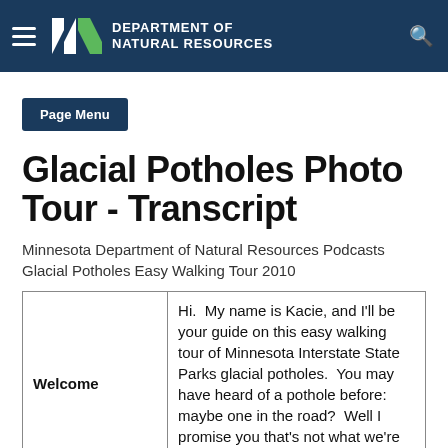DEPARTMENT OF NATURAL RESOURCES
Page Menu
Glacial Potholes Photo Tour - Transcript
Minnesota Department of Natural Resources Podcasts Glacial Potholes Easy Walking Tour 2010
|  |  |
| --- | --- |
| Welcome | Hi.  My name is Kacie, and I'll be your guide on this easy walking tour of Minnesota Interstate State Parks glacial potholes.  You may have heard of a pothole before: maybe one in the road?  Well I promise you that's not what we're exploring, but rather |